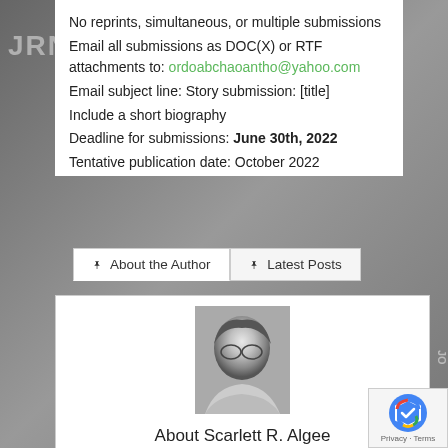No reprints, simultaneous, or multiple submissions
Email all submissions as DOC(X) or RTF attachments to: ordoabchaoantho@yahoo.com
Email subject line: Story submission: [title]
Include a short biography
Deadline for submissions: June 30th, 2022
Tentative publication date: October 2022
[Figure (screenshot): Tab navigation with 'About the Author' (active) and 'Latest Posts' tabs]
[Figure (photo): Black and white headshot photo of Scarlett R. Algee]
About Scarlett R. Algee
Scarlett R. Algee is the managing editor for JournalStone/Trepidatio Publishing and author of the collection BLEEDTHROUGH AND OTHER